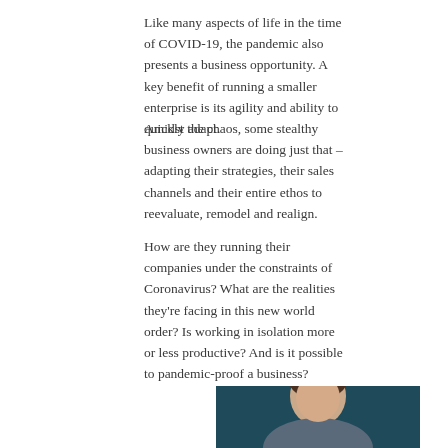Like many aspects of life in the time of COVID-19, the pandemic also presents a business opportunity. A key benefit of running a smaller enterprise is its agility and ability to quickly adapt.
Amidst the chaos, some stealthy business owners are doing just that – adapting their strategies, their sales channels and their entire ethos to reevaluate, remodel and realign.
How are they running their companies under the constraints of Coronavirus? What are the realities they're facing in this new world order? Is working in isolation more or less productive? And is it possible to pandemic-proof a business?
[Figure (photo): Portrait photo of a woman with short dark hair, smiling, wearing a blue/grey top, photographed against a dark teal background]